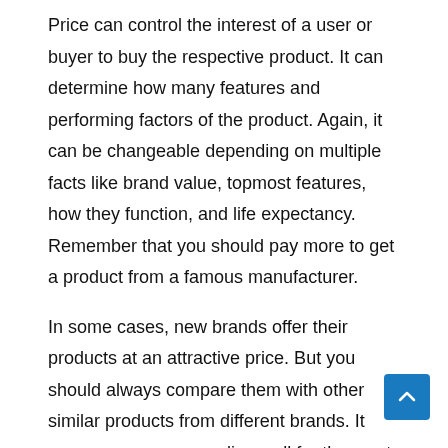Price can control the interest of a user or buyer to buy the respective product. It can determine how many features and performing factors of the product. Again, it can be changeable depending on multiple facts like brand value, topmost features, how they function, and life expectancy. Remember that you should pay more to get a product from a famous manufacturer.
In some cases, new brands offer their products at an attractive price. But you should always compare them with other similar products from different brands. It ensures you are spending well for the most effective outcome. It is beneficial to set and stick to a possible budget and buy the product within that budget.
Performance and Durability:
Performance indicates the compatibility of the product with your applications. Durability is another thing to consider for justifying your investment. You should look at both performance and